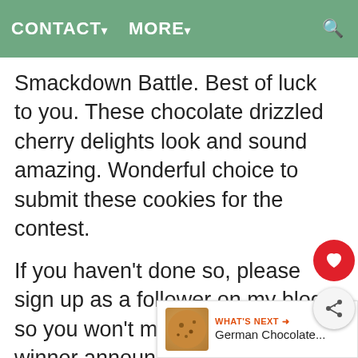CONTACT▾   MORE▾
Smackdown Battle. Best of luck to you. These chocolate drizzled cherry delights look and sound amazing. Wonderful choice to submit these cookies for the contest.
If you haven't done so, please sign up as a follower on my blog so you won't miss out on the winner announcement and new posts. Have a wonderful day!
Amy
http://try.it